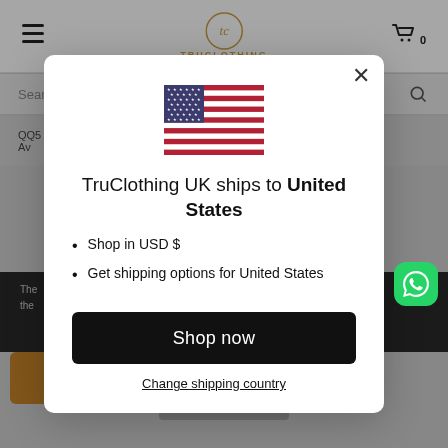[Figure (screenshot): Background of a TruClothing UK e-commerce website with header, search bar, and various page elements partially visible beneath a modal dialog]
[Figure (illustration): US flag SVG illustration inside modal dialog]
TruClothing UK ships to United States
Shop in USD $
Get shipping options for United States
Shop now
Change shipping country